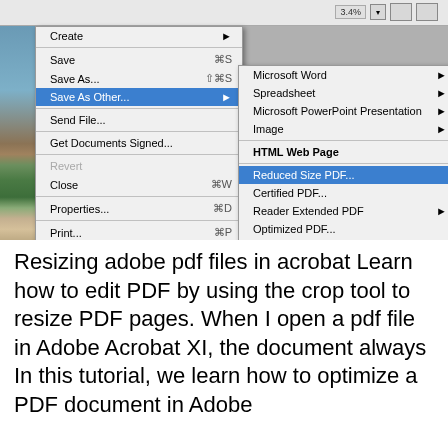[Figure (screenshot): Screenshot of Adobe Acrobat's File menu open, with 'Save As Other...' highlighted in blue, and a submenu showing options including Microsoft Word, Spreadsheet, Microsoft PowerPoint Presentation, Image, HTML Web Page, Reduced Size PDF... (highlighted in blue), Certified PDF..., Reader Extended PDF, Optimized PDF..., Archivable PDF (PDF/A), Press-Ready PDF (PDF/X), More Options. The background shows an Acrobat window with a landscape photo.]
Resizing adobe pdf files in acrobat Learn how to edit PDF by using the crop tool to resize PDF pages. When I open a pdf file in Adobe Acrobat XI, the document always In this tutorial, we learn how to optimize a PDF document in Adobe